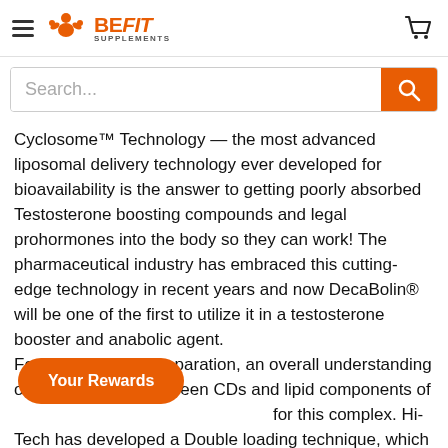BE FIT SUPPLEMENTS
Cyclosome™ Technology — the most advanced liposomal delivery technology ever developed for bioavailability is the answer to getting poorly absorbed Testosterone boosting compounds and legal prohormones into the body so they can work! The pharmaceutical industry has embraced this cutting-edge technology in recent years and now DecaBolin® will be one of the first to utilize it in a testosterone booster and anabolic agent.
For Cyclosome™ preparation, an overall understanding of the interaction between CDs and lipid components of the liposomal bilayer is necessary for this complex. Hi-Tech has developed a Double loading technique, which is a
Your Rewards